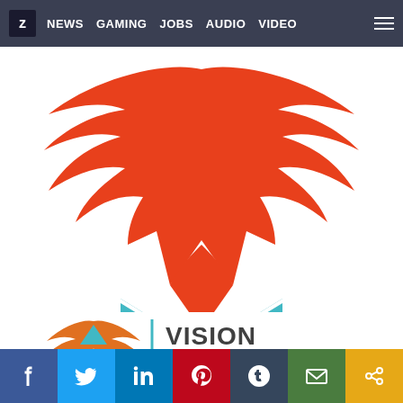Z NEWS GAMING JOBS AUDIO VIDEO
[Figure (logo): Vision Maker Media logo — red eagle/phoenix shape above a teal M-shaped chevron envelope icon, with smaller Vision Maker logo mark and wordmark VISION MAKER text at the bottom]
Social sharing bar: Facebook, Twitter, LinkedIn, Pinterest, Tumblr, Email, Share link